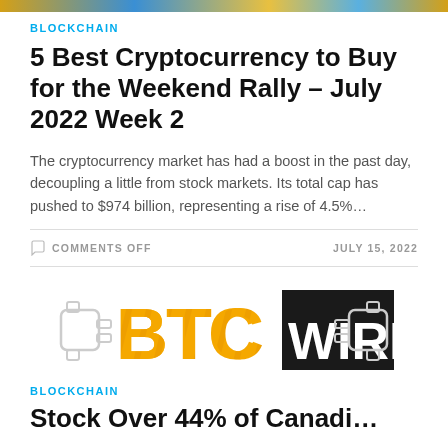[Figure (photo): Top banner image strip — colorful photo (cryptocurrency/blockchain theme)]
BLOCKCHAIN
5 Best Cryptocurrency to Buy for the Weekend Rally – July 2022 Week 2
The cryptocurrency market has had a boost in the past day, decoupling a little from stock markets. Its total cap has pushed to $974 billion, representing a rise of 4.5%…
COMMENTS OFF
JULY 15, 2022
[Figure (logo): BTCWires logo — BTC in yellow/gold with diagonal stripes on black background, WIRES in white on black, plug icons on either side]
BLOCKCHAIN
Stock Over 44% of Canadian…